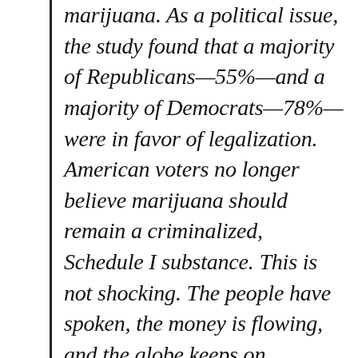marijuana. As a political issue, the study found that a majority of Republicans—55%—and a majority of Democrats—78%—were in favor of legalization. American voters no longer believe marijuana should remain a criminalized, Schedule I substance. This is not shocking. The people have spoken, the money is flowing, and the globe keeps on spinning.